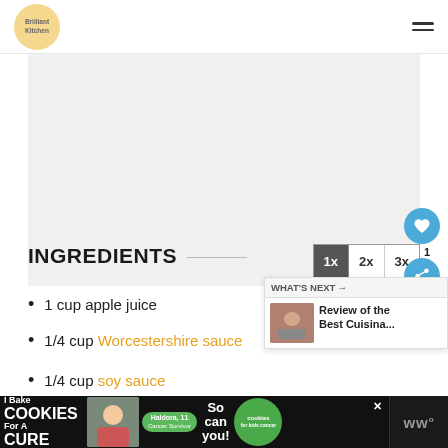Brilliant Kitchen
[Figure (photo): Large light gray placeholder image block for a recipe photo]
INGREDIENTS
1 cup apple juice
1/4 cup Worcestershire sauce
1/4 cup soy sauce
[Figure (screenshot): WHAT'S NEXT panel: Review of the Best Cuisina...]
[Figure (infographic): Bottom advertisement banner: I Bake Cookies For A Cure - Haldora, 11 Cancer Survivor - So can you! - cookies for kids cancer]